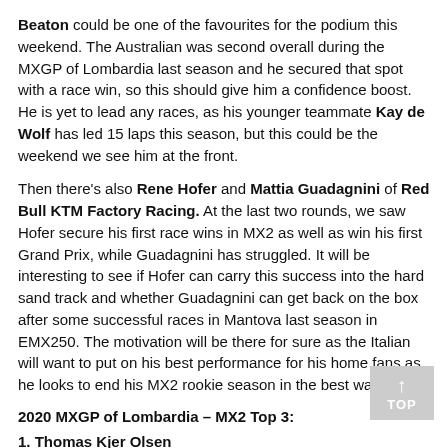Beaton could be one of the favourites for the podium this weekend. The Australian was second overall during the MXGP of Lombardia last season and he secured that spot with a race win, so this should give him a confidence boost. He is yet to lead any races, as his younger teammate Kay de Wolf has led 15 laps this season, but this could be the weekend we see him at the front.
Then there's also Rene Hofer and Mattia Guadagnini of Red Bull KTM Factory Racing. At the last two rounds, we saw Hofer secure his first race wins in MX2 as well as win his first Grand Prix, while Guadagnini has struggled. It will be interesting to see if Hofer can carry this success into the hard sand track and whether Guadagnini can get back on the box after some successful races in Mantova last season in EMX250. The motivation will be there for sure as the Italian will want to put on his best performance for his home fans as he looks to end his MX2 rookie season in the best way.
2020 MXGP of Lombardia – MX2 Top 3:
1. Thomas Kjer Olsen
2. Jed Beaton